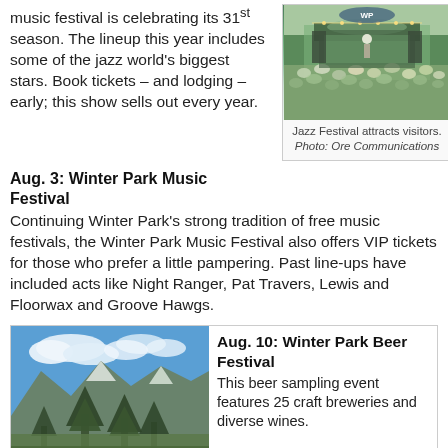music festival is celebrating its 31st season. The lineup this year includes some of the jazz world's biggest stars. Book tickets – and lodging – early; this show sells out every year.
[Figure (photo): Outdoor jazz festival concert with crowd and stage]
Jazz Festival attracts visitors. Photo: Ore Communications
Aug. 3: Winter Park Music Festival
Continuing Winter Park's strong tradition of free music festivals, the Winter Park Music Festival also offers VIP tickets for those who prefer a little pampering. Past line-ups have included acts like Night Ranger, Pat Travers, Lewis and Floorwax and Groove Hawgs.
[Figure (photo): Mountain landscape with pine trees and blue sky]
Aug. 10: Winter Park Beer Festival
This beer sampling event features 25 craft breweries and diverse wines.